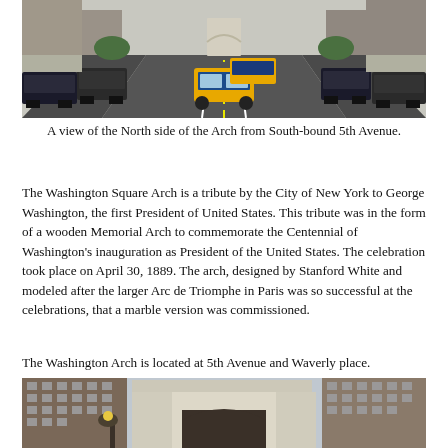[Figure (photo): Street-level view looking south down 5th Avenue with yellow taxi cabs and parked cars on both sides, with the Washington Square Arch visible in the background.]
A view of the North side of the Arch from South-bound 5th Avenue.
The Washington Square Arch is a tribute by the City of New York to George Washington, the first President of United States. This tribute was in the form of a wooden Memorial Arch to commemorate the Centennial of Washington's inauguration as President of the United States. The celebration took place on April 30, 1889. The arch, designed by Stanford White and modeled after the larger Arc de Triomphe in Paris was so successful at the celebrations, that a marble version was commissioned.
The Washington Arch is located at 5th Avenue and Waverly place.
[Figure (photo): Close-up photograph of the Washington Square Arch, a white marble triumphal arch with ornate carvings, flanked by brick apartment buildings in New York City.]